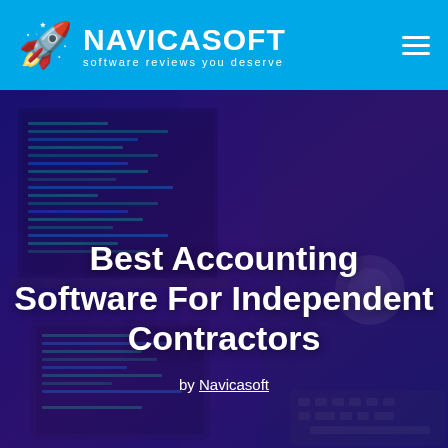NAVICASOFT – software reviews you deserve
[Figure (photo): Dark blue/purple toned photo of a laptop showing code on screen with a tablet and headphones in the background. Used as a hero image background.]
Best Accounting Software For Independent Contractors
by Navicasoft